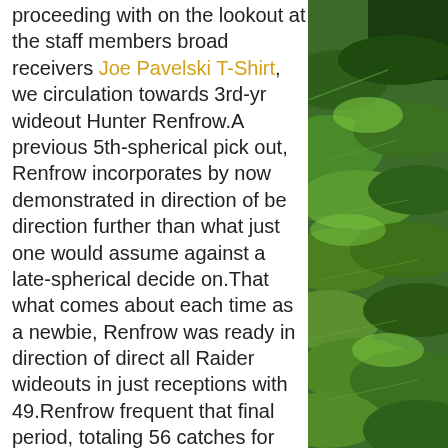proceeding with on the lookout at the staff members broad receivers Joe Pavelski T-Shirt, we circulation towards 3rd-yr wideout Hunter Renfrow.A previous 5th-spherical pick out, Renfrow incorporates by now demonstrated in direction of be direction further than what just one would assume against a late-spherical decide on.That what comes about each time as a newbie, Renfrow was ready in direction of direct all Raider wideouts in just receptions with 49.Renfrow frequent that final period, totaling 56 catches for 656 yards and 2 touchdowns.He on top of that ranked as the Raiders ideal large recipient the final 2 seasons via Skilled Soccer Attention, completing 42nd or far better out of 120 moreover qualified avid gamers.Reasonably basically, Renfrow now incorporates created into a reputable basic safety valve for Derek Carr, specifically after it will some
[Figure (photo): Green leafy plant photo on the right side of the page]